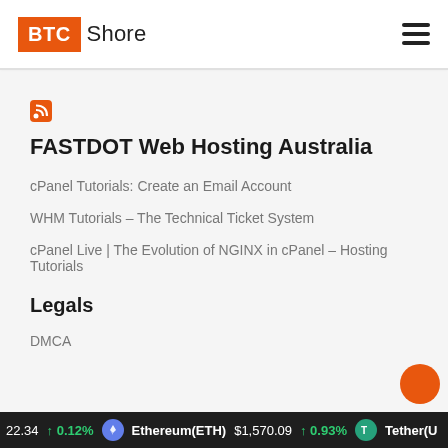[Figure (logo): BTC Shore logo with orange BTC box and Shore text, plus hamburger menu icon]
FASTDOT Web Hosting Australia
cPanel Tutorials: Create an Email Account
WHM Tutorials – The Technical Ticket System
cPanel Live | The Evolution of NGINX in cPanel – Hosting Tutorials
Legals
DMCA
22.34  0.12%  Ethereum(ETH)  $1,570.09  0.93%  Tether(U